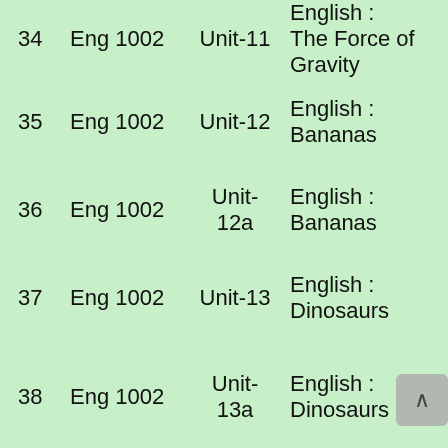| # | Course | Unit | Description |
| --- | --- | --- | --- |
| 34 | Eng 1002 | Unit-11 | English : The Force of Gravity |
| 35 | Eng 1002 | Unit-12 | English : Bananas |
| 36 | Eng 1002 | Unit-12a | English : Bananas |
| 37 | Eng 1002 | Unit-13 | English : Dinosaurs |
| 38 | Eng 1002 | Unit-13a | English : Dinosaurs |